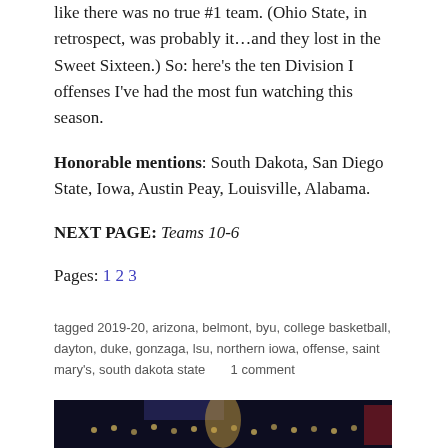like there was no true #1 team. (Ohio State, in retrospect, was probably it…and they lost in the Sweet Sixteen.) So: here's the ten Division I offenses I've had the most fun watching this season.
Honorable mentions: South Dakota, San Diego State, Iowa, Austin Peay, Louisville, Alabama.
NEXT PAGE: Teams 10-6
Pages: 1 2 3
tagged 2019-20, arizona, belmont, byu, college basketball, dayton, duke, gonzaga, lsu, northern iowa, offense, saint mary's, south dakota state      1 comment
[Figure (photo): A basketball arena photo showing a player in action with arena lights and crowd in the background]